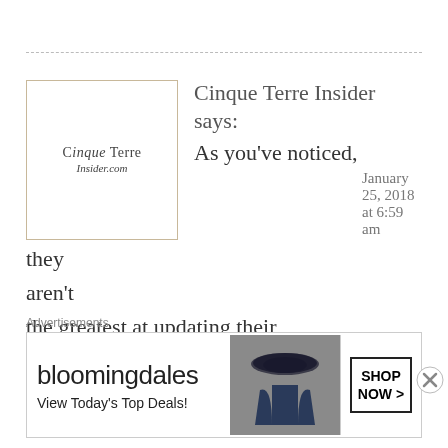[Figure (logo): Cinque Terre Insider logo in a tan-bordered box]
Cinque Terre Insider says:
As you've noticed, they   January 25, 2018 at 6:59 am
aren't
the greatest at updating their website information. The rate change is due to the increased cost of the train tickets when the Cinque Terre Express is in effect.
Easter weekend is really the
Advertisements
[Figure (screenshot): Bloomingdale's advertisement banner: 'bloomingdales / View Today's Top Deals!' with a woman in a hat and SHOP NOW > button]